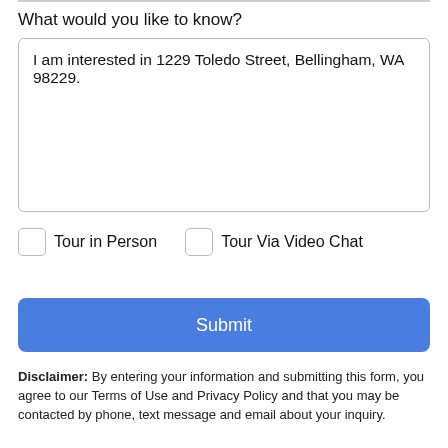What would you like to know?
I am interested in 1229 Toledo Street, Bellingham, WA 98229.
Tour in Person
Tour Via Video Chat
Submit
Disclaimer: By entering your information and submitting this form, you agree to our Terms of Use and Privacy Policy and that you may be contacted by phone, text message and email about your inquiry.
Take a Tour
Ask A Question